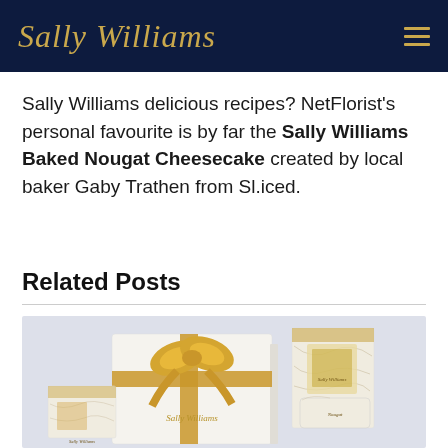Sally Williams
Sally Williams delicious recipes? NetFlorist's personal favourite is by far the Sally Williams Baked Nougat Cheesecake created by local baker Gaby Trathen from Sl.iced.
Related Posts
[Figure (photo): Sally Williams branded gift boxes and nougat products with gold ribbon on a light background]